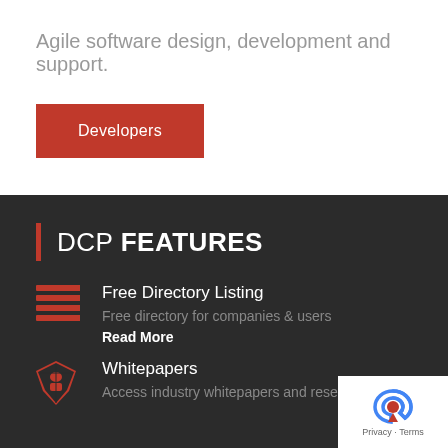Agile software design, development and support.
Developers
DCP FEATURES
Free Directory Listing
Free directory for companies & users
Read More
Whitepapers
Access industry whitepapers and research